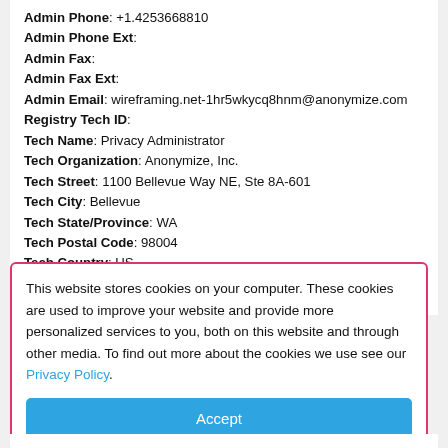Admin Phone: +1.4253668810
Admin Phone Ext:
Admin Fax:
Admin Fax Ext:
Admin Email: wireframing.net-1hr5wkycq8hnm@anonymize.com
Registry Tech ID:
Tech Name: Privacy Administrator
Tech Organization: Anonymize, Inc.
Tech Street: 1100 Bellevue Way NE, Ste 8A-601
Tech City: Bellevue
Tech State/Province: WA
Tech Postal Code: 98004
Tech Country: US
Tech Phone: +1.4253668810
Tech Phone Ext:
This website stores cookies on your computer. These cookies are used to improve your website and provide more personalized services to you, both on this website and through other media. To find out more about the cookies we use see our Privacy Policy.
Accept